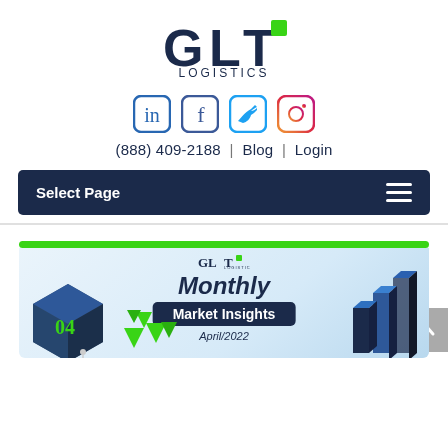[Figure (logo): GLT Logistics logo with dark blue GLT letters and green accent square, LOGISTICS text below]
[Figure (infographic): Social media icons row: LinkedIn, Facebook, Twitter, Instagram]
(888) 409-2188  |  Blog  |  Login
Select Page
[Figure (infographic): Monthly Market Insights April/2022 promotional card with GLT logo, isometric cube with 04, green triangles, bar chart, dark blue badge reading Market Insights]